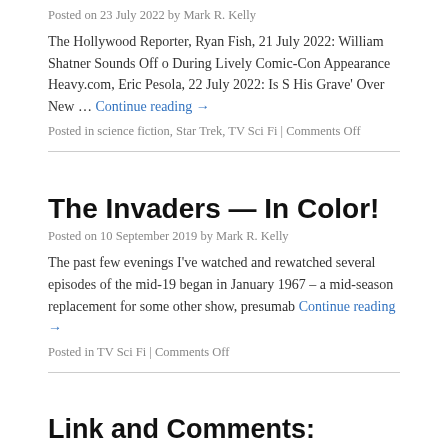Posted on 23 July 2022 by Mark R. Kelly
The Hollywood Reporter, Ryan Fish, 21 July 2022: William Shatner Sounds Off o During Lively Comic-Con Appearance Heavy.com, Eric Pesola, 22 July 2022: Is S His Grave' Over New … Continue reading →
Posted in science fiction, Star Trek, TV Sci Fi | Comments Off
The Invaders — In Color!
Posted on 10 September 2019 by Mark R. Kelly
The past few evenings I've watched and rewatched several episodes of the mid-19 began in January 1967 – a mid-season replacement for some other show, presumab Continue reading →
Posted in TV Sci Fi | Comments Off
Link and Comments: NYTBR reviews Kurt A FANTASYLAND
Posted on 11 September 2017 by Mark R. Kelly